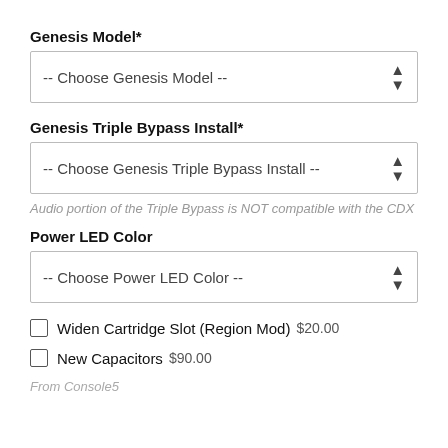Genesis Model*
-- Choose Genesis Model --
Genesis Triple Bypass Install*
-- Choose Genesis Triple Bypass Install --
Audio portion of the Triple Bypass is NOT compatible with the CDX
Power LED Color
-- Choose Power LED Color --
Widen Cartridge Slot (Region Mod) $20.00
New Capacitors $90.00
From Console5